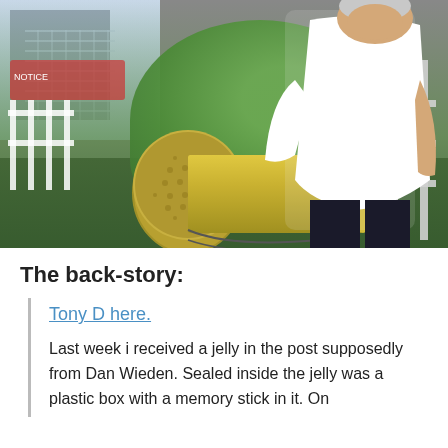[Figure (photo): An older man in a white long-sleeve shirt standing next to a large cylindrical metal drum/container lying on its side on a dark surface. Green trees and a building visible in the background. Metal railing visible on the right.]
The back-story:
Tony D here.
Last week i received a jelly in the post supposedly from Dan Wieden. Sealed inside the jelly was a plastic box with a memory stick in it. On